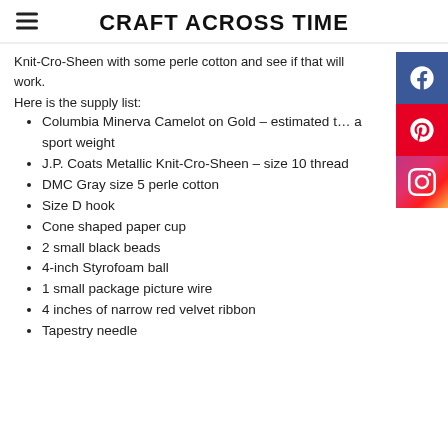CRAFT ACROSS TIME
Knit-Cro-Sheen with some perle cotton and see if that will work.
Here is the supply list:
Columbia Minerva Camelot on Gold – estimated t… a sport weight
J.P. Coats Metallic Knit-Cro-Sheen – size 10 thread
DMC Gray size 5 perle cotton
Size D hook
Cone shaped paper cup
2 small black beads
4-inch Styrofoam ball
1 small package picture wire
4 inches of narrow red velvet ribbon
Tapestry needle